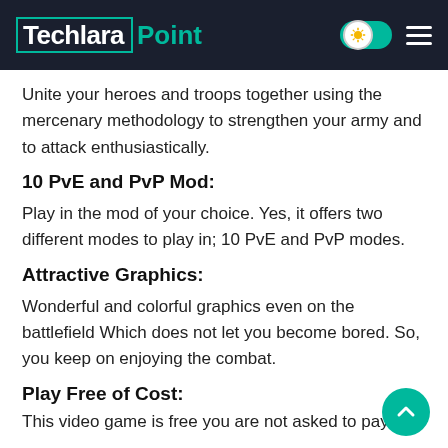Techlara Point
Unite your heroes and troops together using the mercenary methodology to strengthen your army and to attack enthusiastically.
10 PvE and PvP Mod:
Play in the mod of your choice. Yes, it offers two different modes to play in; 10 PvE and PvP modes.
Attractive Graphics:
Wonderful and colorful graphics even on the battlefield Which does not let you become bored. So, you keep on enjoying the combat.
Play Free of Cost:
This video game is free you are not asked to pay any charges